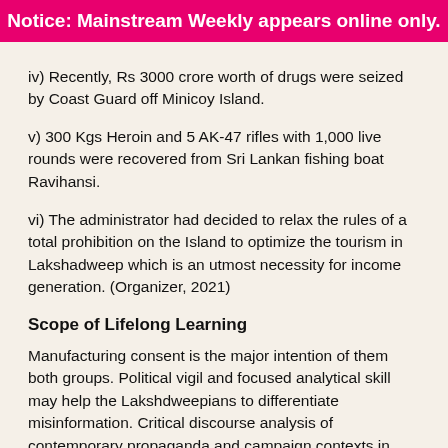Notice: Mainstream Weekly appears online only.
iv) Recently, Rs 3000 crore worth of drugs were seized by Coast Guard off Minicoy Island.
v) 300 Kgs Heroin and 5 AK-47 rifles with 1,000 live rounds were recovered from Sri Lankan fishing boat Ravihansi.
vi) The administrator had decided to relax the rules of a total prohibition on the Island to optimize the tourism in Lakshadweep which is an utmost necessity for income generation. (Organizer, 2021)
Scope of Lifelong Learning
Manufacturing consent is the major intention of them both groups. Political vigil and focused analytical skill may help the Lakshdweepians to differentiate misinformation. Critical discourse analysis of contemporary propaganda and campaign contexts in Lakshadweep points out the architecture of an insightful strategy to be implemented in Lakshadweep focusing on digital literacy, critical media education and fact-check mechanisms.